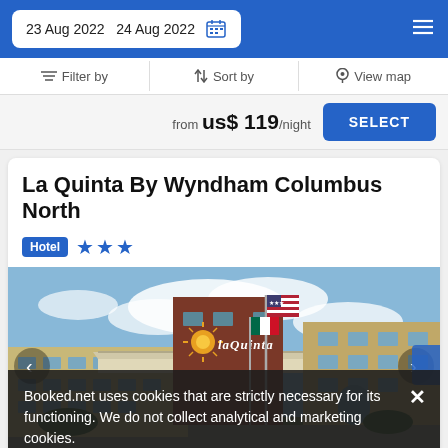23 Aug 2022  24 Aug 2022
Filter by  Sort by  View map
from us$ 119/night  SELECT
La Quinta By Wyndham Columbus North
Hotel ★★★
[Figure (photo): Exterior photo of La Quinta By Wyndham Columbus North hotel building with sign, American flag, and parking area under partly cloudy sky]
Booked.net uses cookies that are strictly necessary for its functioning. We do not collect analytical and marketing cookies.